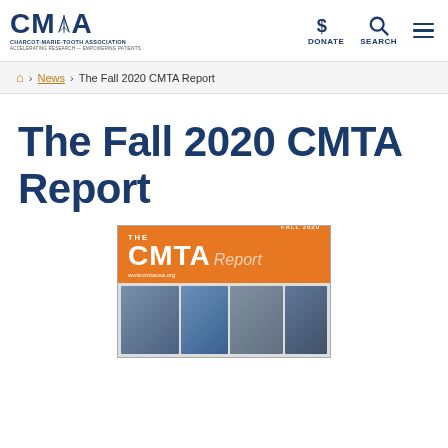[Figure (logo): CMTA (Charcot-Marie-Tooth Association) logo with star graphic, subtitle and tagline]
DONATE
SEARCH
🏠 › News › The Fall 2020 CMTA Report
The Fall 2020 CMTA Report
[Figure (screenshot): Cover of The CMTA Report Fall 2020 issue with orange header showing 'THE CMTA Report' and 'FALL 2020', www.cmtausa.org, and photo collage of people at the bottom]